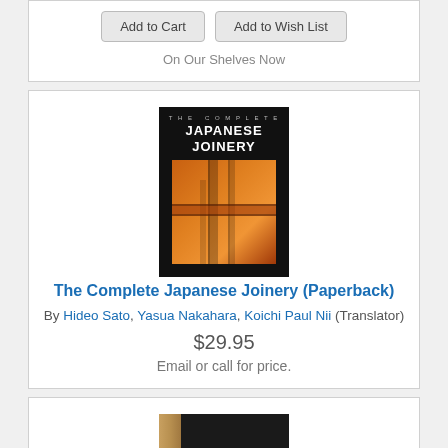Add to Cart | Add to Wish List
On Our Shelves Now
[Figure (photo): Book cover of The Complete Japanese Joinery — black cover with white/grey title text and an orange-toned photo of wooden joinery joints]
The Complete Japanese Joinery (Paperback)
By Hideo Sato, Yasua Nakahara, Koichi Paul Nii (Translator)
$29.95
Email or call for price.
[Figure (photo): Book cover of The Furniture Bible — black cover with gold border and white title text, with a wood-grain spine on the left]